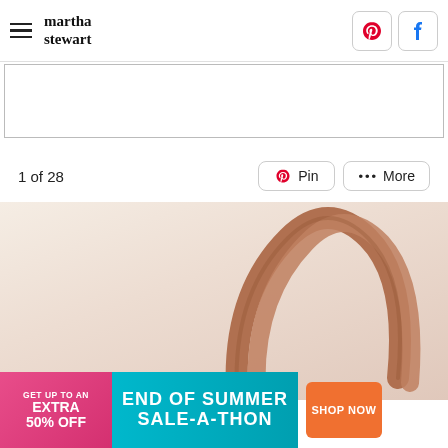martha stewart
[Figure (other): Empty advertisement placeholder box below header]
1 of 28
[Figure (other): Pin button with Pinterest icon]
[Figure (other): More button with three dots]
[Figure (photo): Top-down photo of a tan/beige tote bag with rounded bamboo or wood handles on a light peachy-beige background]
[Figure (other): Advertisement banner: GET UP TO AN EXTRA 50% OFF — END OF SUMMER SALE-A-THON — SHOP NOW]